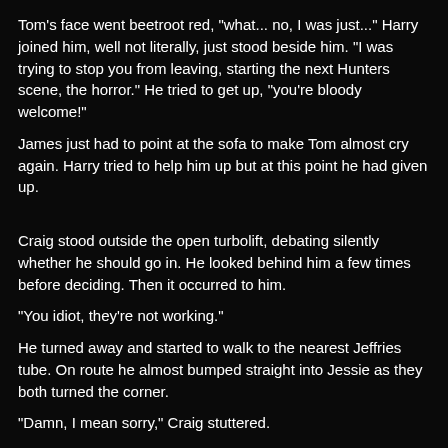Tom's face went beetroot red, "what... no, I was just..." Harry joined him, well not literally, just stood beside him. "I was trying to stop you from leaving, starting the next Hunters scene, the horror." He tried to get up, "you're bloody welcome!"
James just had to point at the sofa to make Tom almost cry again. Harry tried to help him up but at this point he had given up.
Craig stood outside the open turbolift, debating silently whether he should go in. He looked behind him a few times before deciding. Then it occurred to him.
"You idiot, they're not working."
He turned away and started to walk to the nearest Jeffries tube. On route he almost bumped straight into Jessie as they both turned the corner.
"Damn, I mean sorry," Craig stuttered.
Jessie shook her head, "it's okay. I wasn't looking either."
"The turbolifts are still broken," Craig told her.
"Yeah thankfully," Jessie sighed in relief.
Craig frowned, "um, wasn't James with you?"